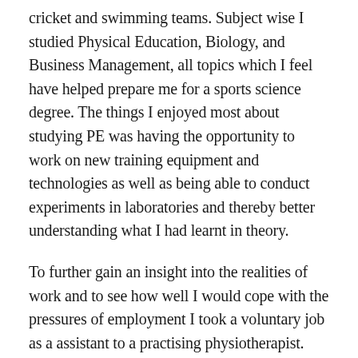cricket and swimming teams. Subject wise I studied Physical Education, Biology, and Business Management, all topics which I feel have helped prepare me for a sports science degree. The things I enjoyed most about studying PE was having the opportunity to work on new training equipment and technologies as well as being able to conduct experiments in laboratories and thereby better understanding what I had learnt in theory.
To further gain an insight into the realities of work and to see how well I would cope with the pressures of employment I took a voluntary job as a assistant to a practising physiotherapist. This role at a local sports centre lasted from June until September and was an excellent learning experience for me. It was at this time more than any other that I realised just how incredible the human body is.